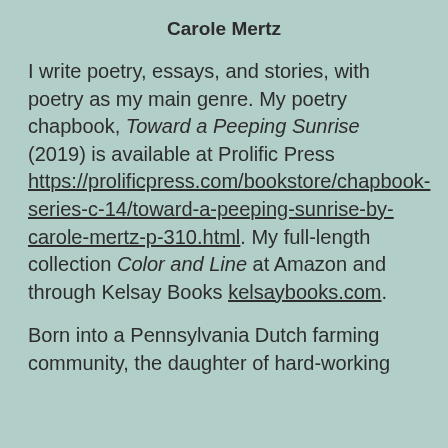Carole Mertz
I write poetry, essays, and stories, with poetry as my main genre. My poetry chapbook, Toward a Peeping Sunrise (2019) is available at Prolific Press https://prolificpress.com/bookstore/chapbook-series-c-14/toward-a-peeping-sunrise-by-carole-mertz-p-310.html. My full-length collection Color and Line at Amazon and through Kelsay Books kelsaybooks.com.
Born into a Pennsylvania Dutch farming community, the daughter of hard-working